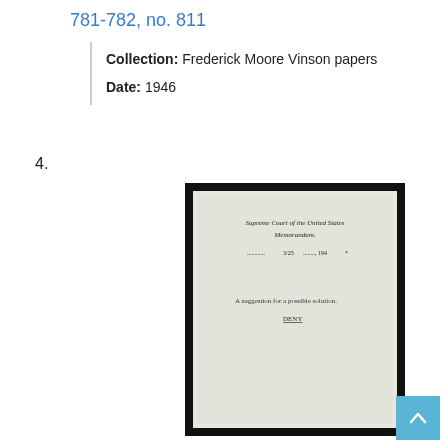781-782, no. 811
Collection: Frederick Moore Vinson papers
Date: 1946
4.
[Figure (photo): Scanned document page: Supreme Court of the United States Memorandum. A suggestion for a possible solution. Dated 3/25 [?], 194[?].]